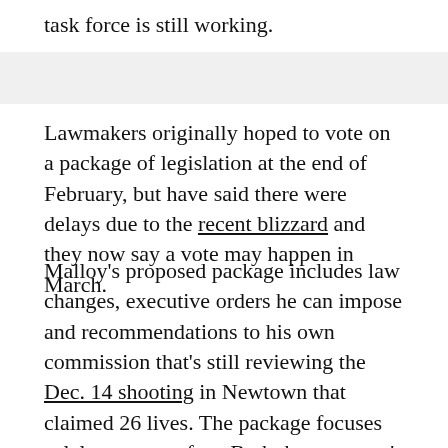task force is still working.
Lawmakers originally hoped to vote on a package of legislation at the end of February, but have said there were delays due to the recent blizzard and they now say a vote may happen in March.
Malloy's proposed package includes law changes, executive orders he can impose and recommendations to his own commission that's still reviewing the Dec. 14 shooting in Newtown that claimed 26 lives. The package focuses solely on gun safety. Both the governor's commission and the bipartisan legislative task force are also reviewing possible school security and mental health changes.